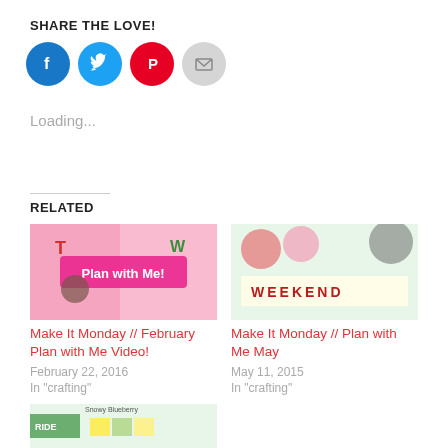SHARE THE LOVE!
[Figure (infographic): Four circular social share buttons: Facebook (blue), Twitter (blue), Pinterest (red), Email (gray)]
Loading...
RELATED
[Figure (photo): Crafting/planner image with text 'Plan with Me' in pink banner]
Make It Monday // February Plan with Me Video!
February 22, 2016
In "crafting"
[Figure (photo): Crafting image with colorful letter blocks spelling WEEKEND]
Make It Monday // Plan with Me May
May 11, 2015
In "crafting"
[Figure (photo): Partially visible crafting/planner image with green and yellow elements]